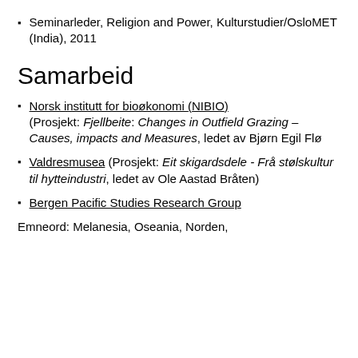Seminarleder, Religion and Power, Kulturstudier/OsloMET (India), 2011
Samarbeid
Norsk institutt for bioøkonomi (NIBIO) (Prosjekt: Fjellbeite: Changes in Outfield Grazing – Causes, impacts and Measures, ledet av Bjørn Egil Flø
Valdresmusea (Prosjekt: Eit skigardsdele - Frå stølskultur til hytteindustri, ledet av Ole Aastad Bråten)
Bergen Pacific Studies Research Group
Emneord: Melanesia, Oseania, Norden,